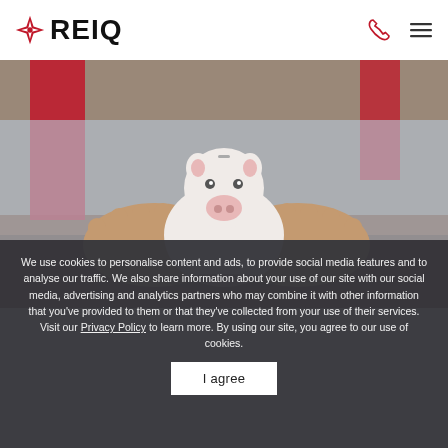REIQ
[Figure (photo): Child's hands holding a white ceramic piggy bank on a wooden table, with a red tie visible in the background]
We use cookies to personalise content and ads, to provide social media features and to analyse our traffic. We also share information about your use of our site with our social media, advertising and analytics partners who may combine it with other information that you've provided to them or that they've collected from your use of their services. Visit our Privacy Policy to learn more. By using our site, you agree to our use of cookies.
I agree